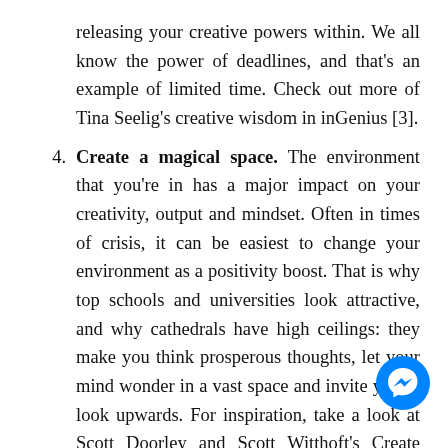releasing your creative powers within. We all know the power of deadlines, and that's an example of limited time. Check out more of Tina Seelig's creative wisdom in inGenius [3].
4. Create a magical space. The environment that you're in has a major impact on your creativity, output and mindset. Often in times of crisis, it can be easiest to change your environment as a positivity boost. That is why top schools and universities look attractive, and why cathedrals have high ceilings: they make you think prosperous thoughts, let your mind wonder in a vast space and invite you to look upwards. For inspiration, take a look at Scott Doorley and Scott Witthoft's Create Space [4]. Adjusting a virtual environment, send a physical item to the